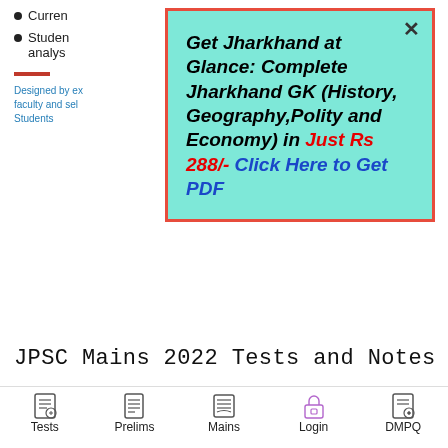Curren…
Studen… analys…
Designed by ex… faculty and sel… Students
Get Jharkhand at Glance: Complete Jharkhand GK (History, Geography,Polity and Economy) in Just Rs 288/- Click Here to Get PDF
JPSC Mains 2022 Tests and Notes
[Figure (infographic): Tests and Notes Program banner with dark blue background and white bold uppercase text]
Tests   Prelims   Mains   Login   DMPQ